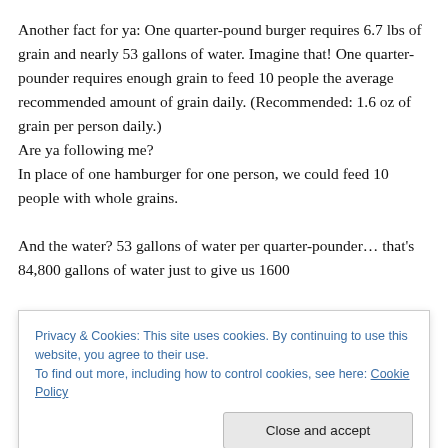Another fact for ya: One quarter-pound burger requires 6.7 lbs of grain and nearly 53 gallons of water. Imagine that! One quarter-pounder requires enough grain to feed 10 people the average recommended amount of grain daily. (Recommended: 1.6 oz of grain per person daily.) Are ya following me? In place of one hamburger for one person, we could feed 10 people with whole grains.

And the water? 53 gallons of water per quarter-pounder… that's 84,800 gallons of water just to give us 1600
Privacy & Cookies: This site uses cookies. By continuing to use this website, you agree to their use.
To find out more, including how to control cookies, see here: Cookie Policy
How many of you reading this have experienced drought